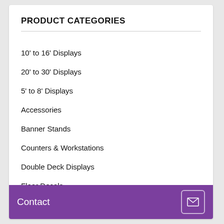PRODUCT CATEGORIES
10' to 16' Displays
20' to 30' Displays
5' to 8' Displays
Accessories
Banner Stands
Counters & Workstations
Double Deck Displays
Floor Decals
Contact